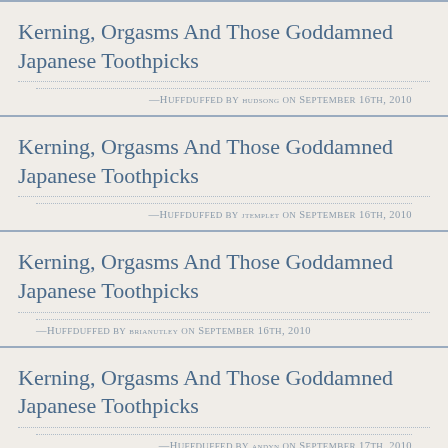Kerning, Orgasms And Those Goddamned Japanese Toothpicks
—Huffduffed by hudsong on September 16th, 2010
Kerning, Orgasms And Those Goddamned Japanese Toothpicks
—Huffduffed by jtemplet on September 16th, 2010
Kerning, Orgasms And Those Goddamned Japanese Toothpicks
—Huffduffed by brianutley on September 16th, 2010
Kerning, Orgasms And Those Goddamned Japanese Toothpicks
—Huffduffed by andyn on September 17th, 2010